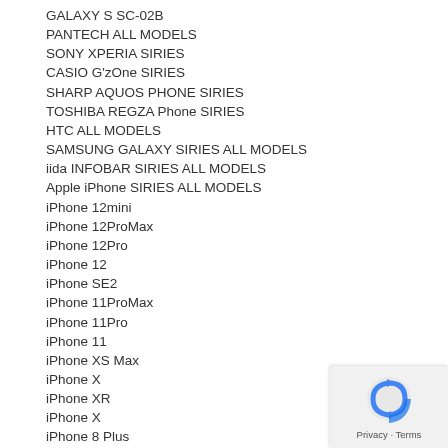GALAXY S SC-02B
PANTECH ALL MODELS
SONY XPERIA SIRIES
CASIO G'zOne SIRIES
SHARP AQUOS PHONE SIRIES
TOSHIBA REGZA Phone SIRIES
HTC ALL MODELS
SAMSUNG GALAXY SIRIES ALL MODELS
iida INFOBAR SIRIES ALL MODELS
Apple iPhone SIRIES ALL MODELS
iPhone 12mini
iPhone 12ProMax
iPhone 12Pro
iPhone 12
iPhone SE2
iPhone 11ProMax
iPhone 11Pro
iPhone 11
iPhone XS Max
iPhone X
iPhone XR
iPhone X
iPhone 8 Plus
iPhone 8
iPhone 7 Plus
iPhone 7
iPhone 6s Plus
iPhone 6s
iPhone 6 Plus
iPhone 6
iPhone 5s
iPhone 5c
iPhone 5
iPhone 4s
iPhone 4
iPhone 3G
Apple iPad SIRIES ALL MODELS
LG Optimus SIRIES ALL MODELS